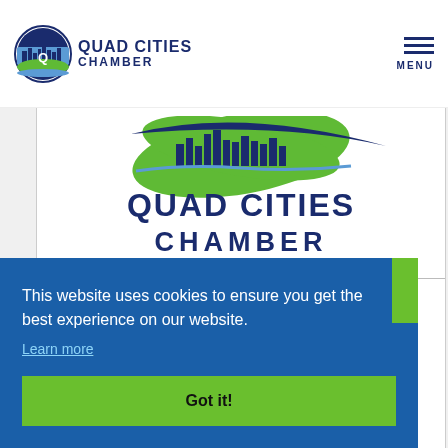Quad Cities Chamber — MENU
[Figure (logo): Quad Cities Chamber large logo with city skyline in circle and stylized green leaf, with text QUAD CITIES CHAMBER below]
2022 InternQC | Kick Off at TBK Bank Sports Complex
This website uses cookies to ensure you get the best experience on our website.
Learn more
Got it!